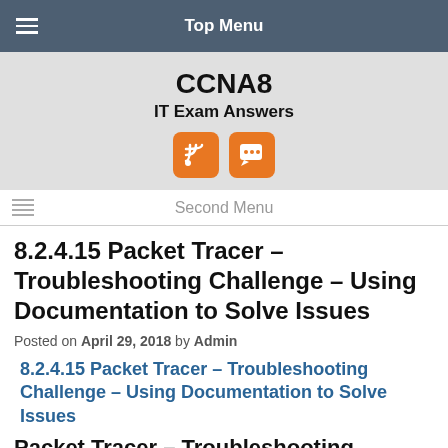Top Menu
CCNA8
IT Exam Answers
[Figure (other): Two orange RSS/feed icon buttons]
Second Menu
8.2.4.15 Packet Tracer – Troubleshooting Challenge – Using Documentation to Solve Issues
Posted on April 29, 2018 by Admin
8.2.4.15 Packet Tracer – Troubleshooting Challenge – Using Documentation to Solve Issues
Packet Tracer – Troubleshooting Challenge –